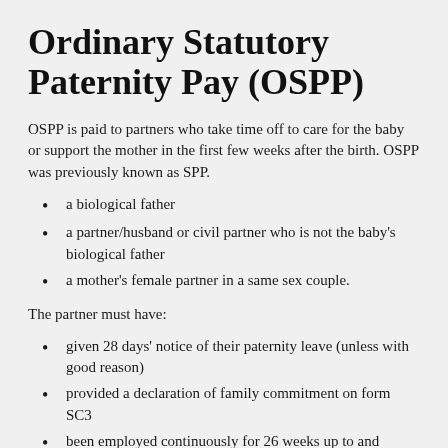Ordinary Statutory Paternity Pay (OSPP)
OSPP is paid to partners who take time off to care for the baby or support the mother in the first few weeks after the birth. OSPP was previously known as SPP.
a biological father
a partner/husband or civil partner who is not the baby's biological father
a mother's female partner in a same sex couple.
The partner must have:
given 28 days' notice of their paternity leave (unless with good reason)
provided a declaration of family commitment on form SC3
been employed continuously for 26 weeks up to and including their qualifying week